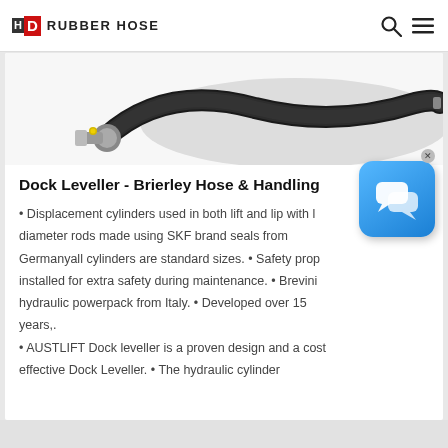HD RUBBER HOSE
[Figure (photo): Photograph of a black rubber hydraulic hose with metal fittings on a white background]
Dock Leveller - Brierley Hose & Handling
• Displacement cylinders used in both lift and lip with large diameter rods made using SKF brand seals from Germanyall cylinders are standard sizes. • Safety prop installed for extra safety during maintenance. • Brevini hydraulic powerpack from Italy. • Developed over 15 years,. • AUSTLIFT Dock leveller is a proven design and a cost effective Dock Leveller. • The hydraulic cylinder